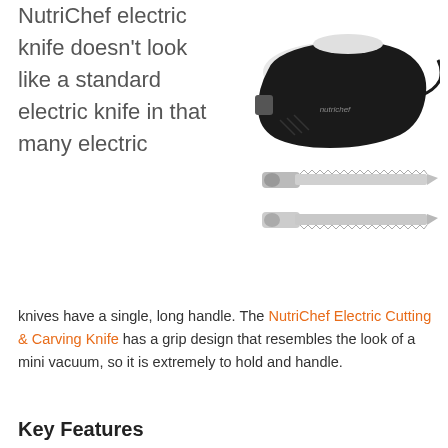NutriChef electric knife doesn't look like a standard electric knife in that many electric knives have a single, long handle. The NutriChef Electric Cutting & Carving Knife has a grip design that resembles the look of a mini vacuum, so it is extremely to hold and handle.
[Figure (photo): Product photo of NutriChef electric knife — black and white grip handle unit on top, and two detachable stainless steel serrated blade attachments shown below it.]
Key Features